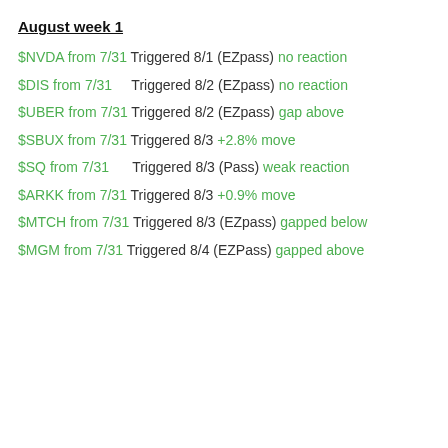August week 1
$NVDA from 7/31  Triggered 8/1 (EZpass) no reaction
$DIS from 7/31     Triggered 8/2 (EZpass) no reaction
$UBER from 7/31  Triggered 8/2 (EZpass) gap above
$SBUX from 7/31  Triggered 8/3 +2.8% move
$SQ from 7/31      Triggered 8/3 (Pass) weak reaction
$ARKK from 7/31  Triggered 8/3 +0.9% move
$MTCH from 7/31  Triggered 8/3 (EZpass) gapped below
$MGM from 7/31   Triggered 8/4 (EZPass) gapped above